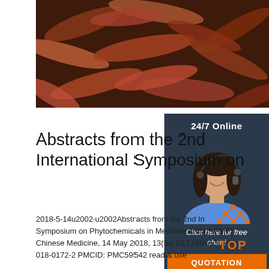[Figure (photo): Close-up photo of red/brown earthworms clustered together]
Abstracts from the 2nd International Symposium on
2018-5-14u2002·u2002Abstracts from the 2nd International Symposium on Phytochemicals in Medicine and Food (ISPMF). Chinese Medicine, 14 May 2018, 13(Suppl 1). 10.1186/s13020-018-0172-2 PMCID: PMC5954278 read & use
[Figure (photo): 24/7 Online chat widget with female agent wearing headset, Click here for free chat!, QUOTATION button]
[Figure (logo): TOP logo in orange with triangle/dots above text]
Get Price